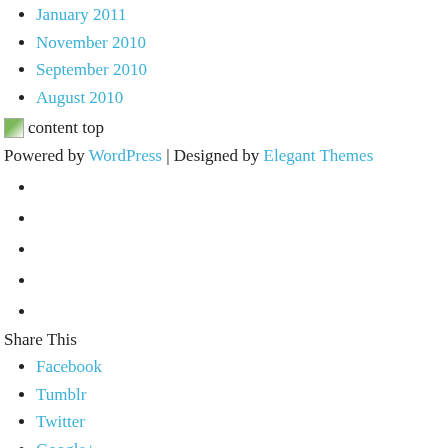January 2011
November 2010
September 2010
August 2010
[Figure (illustration): Small image icon labeled 'content top']
Powered by WordPress | Designed by Elegant Themes
Share This
Facebook
Tumblr
Twitter
Google+
Gmail
Share This
Share this post with your friends!